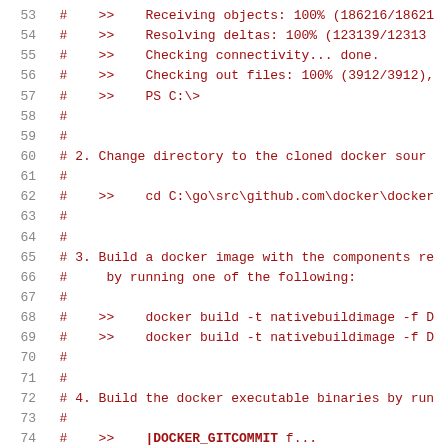53  #    >>   Receiving objects: 100% (186216/18621...
54  #    >>   Resolving deltas: 100% (123139/12313...
55  #    >>   Checking connectivity... done.
56  #    >>   Checking out files: 100% (3912/3912),
57  #    >>   PS C:\>
58  #
59  #
60  # 2. Change directory to the cloned docker sour...
61  #
62  #    >>   cd C:\go\src\github.com\docker\docker
63  #
64  #
65  # 3. Build a docker image with the components re...
66  #    by running one of the following:
67  #
68  #    >>   docker build -t nativebuildimage -f D...
69  #    >>   docker build -t nativebuildimage -f D...
70  #
71  #
72  # 4. Build the docker executable binaries by run...
73  #
74  #    >>   |DOCKER_GITCOMMIT f...